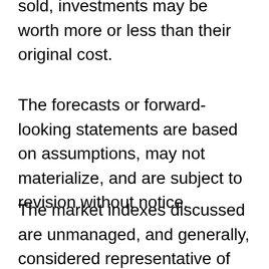sold, investments may be worth more or less than their original cost.
The forecasts or forward-looking statements are based on assumptions, may not materialize, and are subject to revision without notice.
The market indexes discussed are unmanaged, and generally, considered representative of their respective markets. Index performance is not indicative of